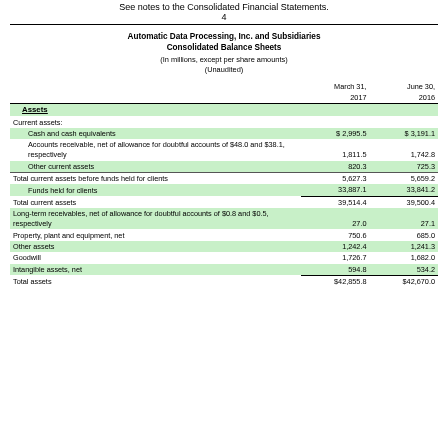4
Automatic Data Processing, Inc. and Subsidiaries
Consolidated Balance Sheets
(In millions, except per share amounts)
(Unaudited)
|  | March 31, 2017 | June 30, 2016 |
| --- | --- | --- |
| Assets |  |  |
| Current assets: |  |  |
| Cash and cash equivalents | $ 2,995.5 | $ 3,191.1 |
| Accounts receivable, net of allowance for doubtful accounts of $48.0 and $38.1, respectively | 1,811.5 | 1,742.8 |
| Other current assets | 820.3 | 725.3 |
| Total current assets before funds held for clients | 5,627.3 | 5,659.2 |
| Funds held for clients | 33,887.1 | 33,841.2 |
| Total current assets | 39,514.4 | 39,500.4 |
| Long-term receivables, net of allowance for doubtful accounts of $0.8 and $0.5, respectively | 27.0 | 27.1 |
| Property, plant and equipment, net | 750.6 | 685.0 |
| Other assets | 1,242.4 | 1,241.3 |
| Goodwill | 1,726.7 | 1,682.0 |
| Intangible assets, net | 594.8 | 534.2 |
| Total assets | $42,855.8 | $42,670.0 |